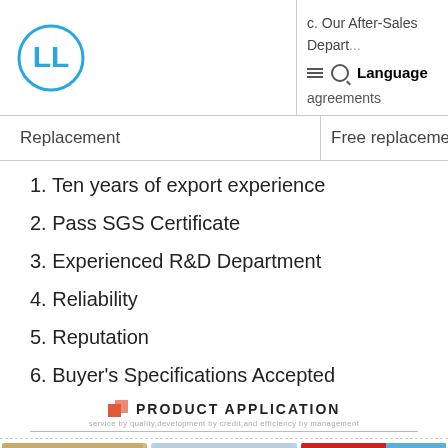c. Our After-Sales Department agreements Language
|  |  |
| --- | --- |
| Replacement | Free replacement if there |
1. Ten years of export experience
2. Pass SGS Certificate
3. Experienced R&D Department
4. Reliability
5. Reputation
6. Buyer's Specifications Accepted
PRODUCT APPLICATION
service by quality,development by credit,and efficiency by management
[Figure (photo): Three product application photos: a bowl of cereal/oatmeal with wheat stalks, milk bottles and packaging on blue background, and Coca-Cola cans.]